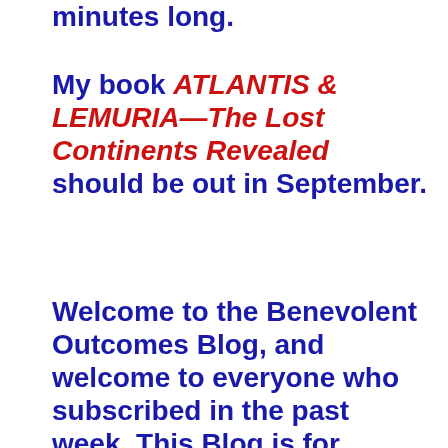minutes long.
My book ATLANTIS & LEMURIA—The Lost Continents Revealed should be out in September.
Welcome to the Benevolent Outcomes Blog, and welcome to everyone who subscribed in the past week. This Blog is for people who wish to learn